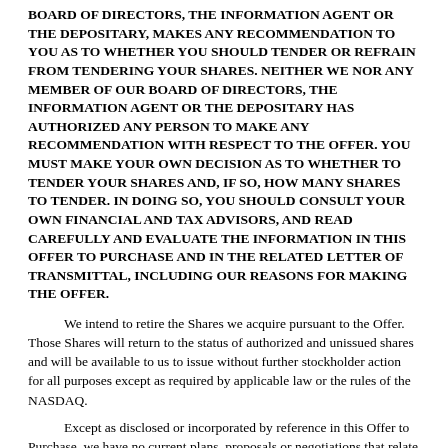BOARD OF DIRECTORS, THE INFORMATION AGENT OR THE DEPOSITARY, MAKES ANY RECOMMENDATION TO YOU AS TO WHETHER YOU SHOULD TENDER OR REFRAIN FROM TENDERING YOUR SHARES. NEITHER WE NOR ANY MEMBER OF OUR BOARD OF DIRECTORS, THE INFORMATION AGENT OR THE DEPOSITARY HAS AUTHORIZED ANY PERSON TO MAKE ANY RECOMMENDATION WITH RESPECT TO THE OFFER. YOU MUST MAKE YOUR OWN DECISION AS TO WHETHER TO TENDER YOUR SHARES AND, IF SO, HOW MANY SHARES TO TENDER. IN DOING SO, YOU SHOULD CONSULT YOUR OWN FINANCIAL AND TAX ADVISORS, AND READ CAREFULLY AND EVALUATE THE INFORMATION IN THIS OFFER TO PURCHASE AND IN THE RELATED LETTER OF TRANSMITTAL, INCLUDING OUR REASONS FOR MAKING THE OFFER.
We intend to retire the Shares we acquire pursuant to the Offer. Those Shares will return to the status of authorized and unissued shares and will be available to us to issue without further stockholder action for all purposes except as required by applicable law or the rules of the NASDAQ.
Except as disclosed or incorporated by reference in this Offer to Purchase, we have no current plans, proposals or negotiations that relate to or would result in:
any extraordinary transaction, such as a merger, reorganization or liquidation, involving us or any of our subsidiaries;
any purchase, sale or transfer of an amount of our assets or any of our subsidiaries' assets which is material to us and our subsidiaries, taken as a whole;